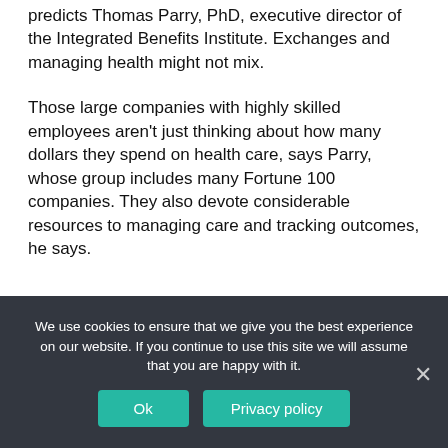predicts Thomas Parry, PhD, executive director of the Integrated Benefits Institute. Exchanges and managing health might not mix.
Those large companies with highly skilled employees aren't just thinking about how many dollars they spend on health care, says Parry, whose group includes many Fortune 100 companies. They also devote considerable resources to managing care and tracking outcomes, he says.
We use cookies to ensure that we give you the best experience on our website. If you continue to use this site we will assume that you are happy with it.